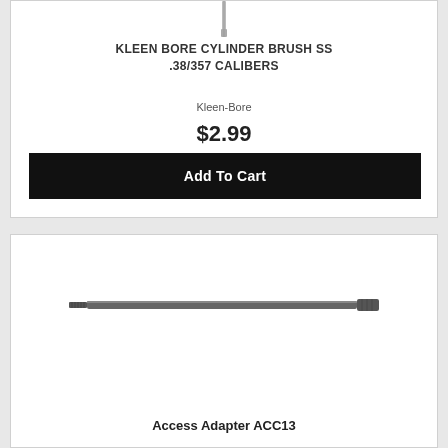[Figure (photo): Kleen-Bore cylinder brush product image, partial view at top]
KLEEN BORE CYLINDER BRUSH SS .38/357 CALIBERS
Kleen-Bore
$2.99
Add To Cart
[Figure (photo): Access Adapter ACC13 product image - a long thin metal rod/adapter]
Access Adapter ACC13